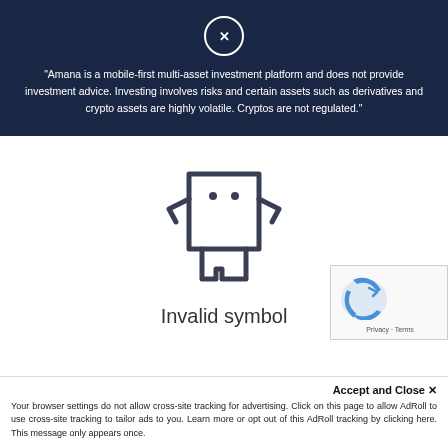"Amana is a mobile-first multi-asset investment platform and does not provide investment advice. Investing involves risks and certain assets such as derivatives and crypto assets are highly volatile. Cryptos are not regulated."
[Figure (illustration): A cartoon monster/creature icon with arms on hips, two dots as eyes, and rectangular legs with notch cutouts — used as an error state illustration]
Invalid symbol
[Figure (other): reCAPTCHA widget showing the Google reCAPTCHA logo with Privacy and Terms links]
Accept and Close ✕
Your browser settings do not allow cross-site tracking for advertising. Click on this page to allow AdRoll to use cross-site tracking to tailor ads to you. Learn more or opt out of this AdRoll tracking by clicking here. This message only appears once.